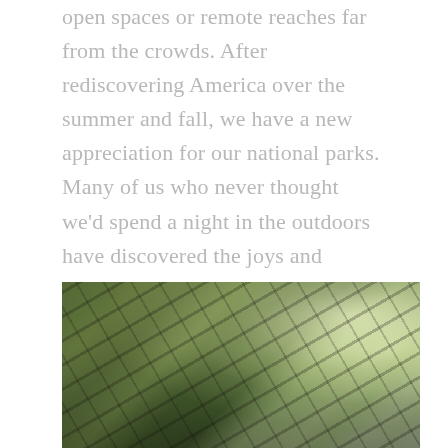open spaces or remote reaches far from the crowds. After rediscovering America over the summer and fall, we have a new appreciation for our national parks. Many of us who never thought we'd spend a night in the outdoors have discovered the joys and comforts of glamping. Or we're finally going to take the trip to Antarctica or the Arctic that we've been promising ourselves for years we'd go on one day.
[Figure (photo): A misty jungle or forest scene viewed through a wooden or bamboo frame structure, with lush green foliage and bright hazy light in the upper right background.]